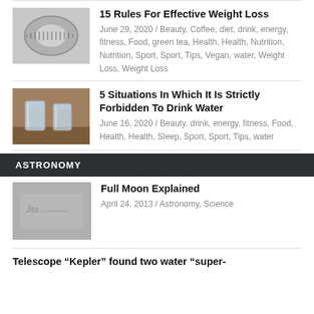[Figure (photo): Tape measure coiled up, black and white photo]
15 Rules For Effective Weight Loss
June 29, 2020 / Beauty, Coffee, diet, drink, energy, fitness, Food, green tea, Health, Health, Nutrition, Nutrition, Sport, Sport, Tips, Vegan, water, Weight Loss, Weight Loss
[Figure (photo): Two glasses of water on a wooden surface]
5 Situations In Which It Is Strictly Forbidden To Drink Water
June 16, 2020 / Beauty, drink, energy, fitness, Food, Health, Health, Sleep, Sport, Sport, Tips, water
ASTRONOMY
[Figure (logo): JSS Just Some Stuff logo placeholder]
Full Moon Explained
April 24, 2013 / Astronomy, Science
Telescope “Kepler” found two water “super-